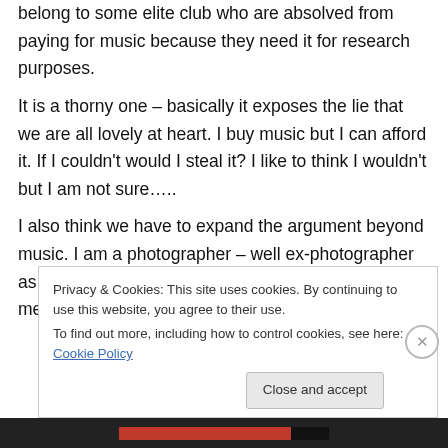belong to some elite club who are absolved from paying for music because they need it for research purposes.
It is a thorny one – basically it exposes the lie that we are all lovely at heart. I buy music but I can afford it. If I couldn't would I steal it? I like to think I wouldn't but I am not sure…..
I also think we have to expand the argument beyond music. I am a photographer – well ex-photographer as I can't make a living at it anymore – so don't get me started on unlicensed
Privacy & Cookies: This site uses cookies. By continuing to use this website, you agree to their use.
To find out more, including how to control cookies, see here: Cookie Policy